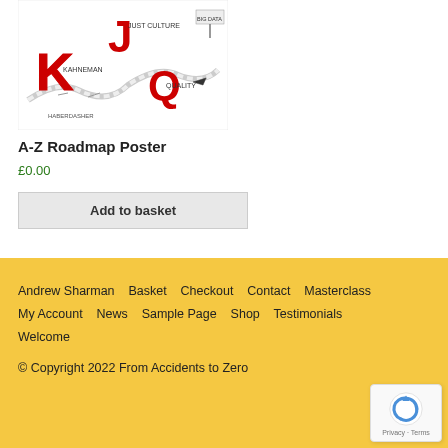[Figure (illustration): A-Z Roadmap sketch illustration showing letters K, J, Q with doodle-style roadmap graphics]
A-Z Roadmap Poster
£0.00
Add to basket
Andrew Sharman   Basket   Checkout   Contact   Masterclass   My Account   News   Sample Page   Shop   Testimonials   Welcome
© Copyright 2022 From Accidents to Zero